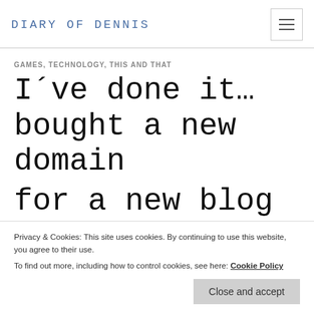DIARY OF DENNIS
GAMES, TECHNOLOGY, THIS AND THAT
I´ve done it… bought a new domain for a new blog
Privacy & Cookies: This site uses cookies. By continuing to use this website, you agree to their use.
To find out more, including how to control cookies, see here: Cookie Policy
It might be a little bit quieter on this blog here over the